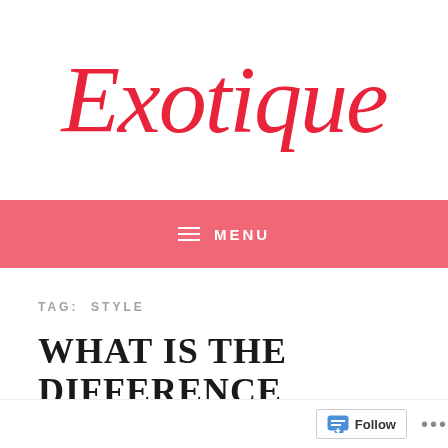Exotique
≡  MENU
TAG:  STYLE
WHAT IS THE DIFFERENCE
Follow  ...